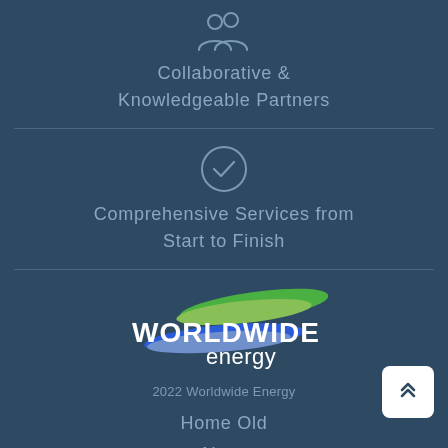[Figure (illustration): Two people / users icon in light gray outline style]
Collaborative &
Knowledgeable Partners
[Figure (illustration): Checkmark inside a circle icon in light gray outline style]
Comprehensive Services from
Start to Finish
[Figure (logo): Worldwide Energy logo with green and blue swoosh shapes and bold white text WORLDWIDE energy]
2022 Worldwide Energy
Home Old
About